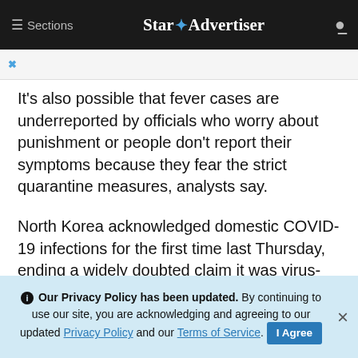≡ Sections   Star ✦ Advertiser
It's also possible that fever cases are underreported by officials who worry about punishment or people don't report their symptoms because they fear the strict quarantine measures, analysts say.
North Korea acknowledged domestic COVID-19 infections for the first time last Thursday, ending a widely doubted claim it was virus-free throughout the pandemic.
ADVERTISEMENT
ℹ Our Privacy Policy has been updated. By continuing to use our site, you are acknowledging and agreeing to our updated Privacy Policy and our Terms of Service. I Agree